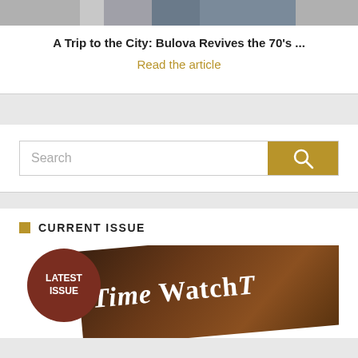[Figure (photo): Partial view of a person wearing a watch, cropped at top of page]
A Trip to the City: Bulova Revives the 70's ...
Read the article
[Figure (screenshot): Search bar with gold search button and magnifying glass icon]
CURRENT ISSUE
[Figure (photo): Magazine cover preview showing 'Time WatchT' title text on dark background with a brown circular badge labeled 'LATEST ISSUE']